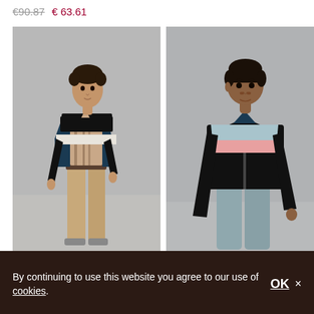€90.87  € 63.61
[Figure (photo): Young male model wearing a colorblock bomber jacket (navy, white, black) over a striped shirt, with tan chinos. Standing in a neutral grey studio background.]
[Figure (photo): Male model wearing a black zip-up track jacket with light blue and pink chest colorblock panel, and light blue-grey trousers. Grey studio background.]
By continuing to use this website you agree to our use of cookies.
OK ×